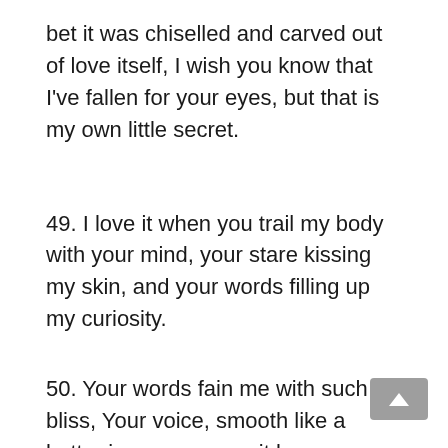bet it was chiselled and carved out of love itself, I wish you know that I've fallen for your eyes, but that is my own little secret.
49. I love it when you trail my body with your mind, your stare kissing my skin, and your words filling up my curiosity.
50. Your words fain me with such bliss, Your voice, smooth like a butter in a warm pan, it became more of a weakness than